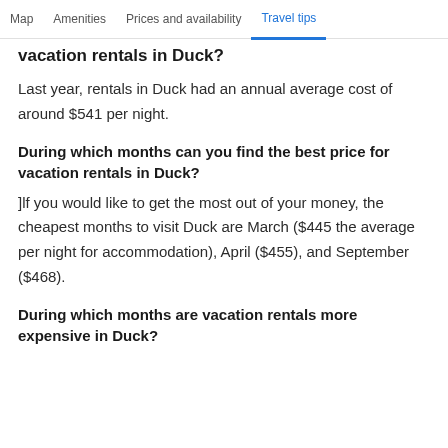Map   Amenities   Prices and availability   Travel tips
vacation rentals in Duck?
Last year, rentals in Duck had an annual average cost of around $541 per night.
During which months can you find the best price for vacation rentals in Duck?
]lf you would like to get the most out of your money, the cheapest months to visit Duck are March ($445 the average per night for accommodation), April ($455), and September ($468).
During which months are vacation rentals more expensive in Duck?